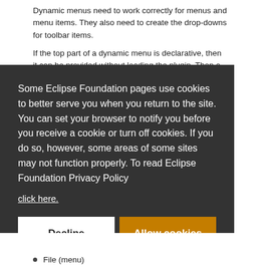Dynamic menus need to work correctly for menus and menu items. They also need to create the drop-downs for toolbar items.
If the top part of a dynamic menu is declarative, then it can be provided without loading the plugin. Then a callback could be specified.
Some Eclipse Foundation pages use cookies to better serve you when you return to the site. You can set your browser to notify you before you receive a cookie or turn off cookies. If you do so, however, some areas of some sites may not function properly. To read Eclipse Foundation Privacy Policy click here.
Decline
Allow cookies
File (menu)